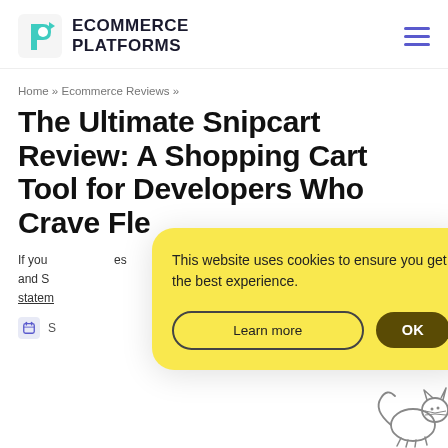ECOMMERCE PLATFORMS
Home » Ecommerce Reviews »
The Ultimate Snipcart Review: A Shopping Cart Tool for Developers Who Crave Fle…
If you … es and S… statem…
S…
[Figure (screenshot): Cookie consent modal with yellow background. Text: 'This website uses cookies to ensure you get the best experience.' Two buttons: 'Learn more' (outlined) and 'OK' (dark brown filled).]
[Figure (illustration): Line drawing of a cat (bottom right corner of page)]